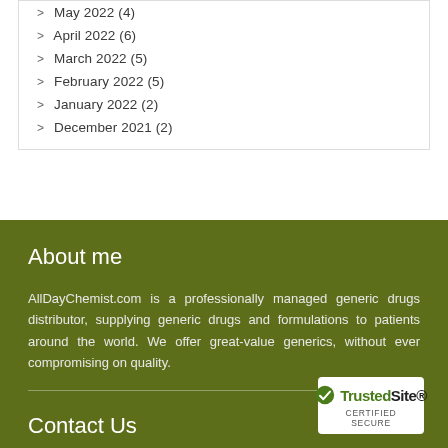May 2022 (4)
April 2022 (6)
March 2022 (5)
February 2022 (5)
January 2022 (2)
December 2021 (2)
About me
AllDayChemist.com is a professionally managed generic drugs distributor, supplying generic drugs and formulations to patients around the world. We offer great-value generics, without ever compromising on quality.
Contact Us
[Figure (logo): TrustedSite Certified Secure badge with green checkmark]